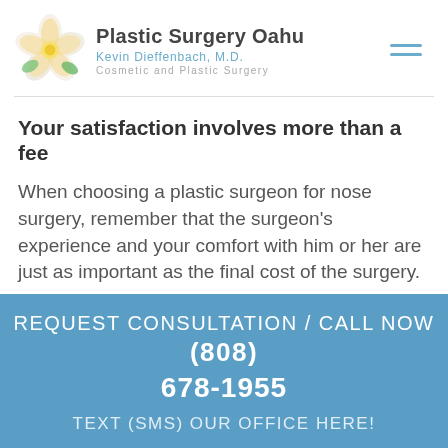[Figure (logo): Plastic Surgery Oahu logo with plumeria flowers and text: Plastic Surgery Oahu, Kevin Dieffenbach, M.D., Cosmetic and Plastic Surgery]
Your satisfaction involves more than a fee
When choosing a plastic surgeon for nose surgery, remember that the surgeon's experience and your comfort with him or her are just as important as the final cost of the surgery.
REQUEST CONSULTATION / CALL NOW (808) 678-1955
TEXT (SMS) OUR OFFICE HERE!